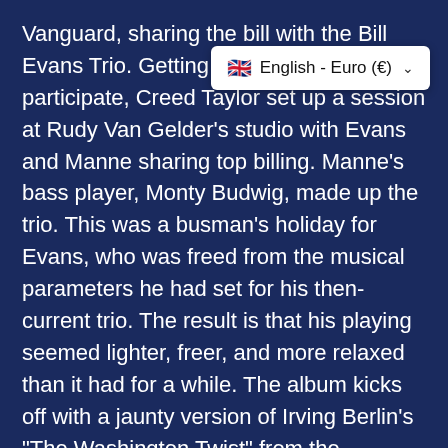Vanguard, sharing the bill with the Bill Evans Trio. Getting Riverside's pianist participate, Creed Taylor set up a session at Rudy Van Gelder's studio with Evans and Manne sharing top billing. Manne's bass player, Monty Budwig, made up the trio. This was a busman's holiday for Evans, who was freed from the musical parameters he had set for his then-current trio. The result is that his playing seemed lighter, freer, and more relaxed than it had for a while. The album kicks off with a jaunty version of Irving Berlin's "The Washington Twist" from the unsuccessful Mr. President, with Budwig sharing the honors with Evans as much as Manne. Manne spends most of his time driving Evans into more diminished and sharper playing than was usually Evans' wont. Another relatively unfamiliar Berlin work, "Let's Go Back to the
[Figure (other): Language/currency selector dropdown showing UK flag emoji, 'English - Euro (€)' text, and a chevron/dropdown arrow]